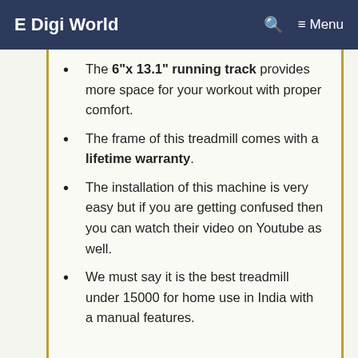E Digi World  🔍  ≡ Menu
The 6"x 13.1" running track provides more space for your workout with proper comfort.
The frame of this treadmill comes with a lifetime warranty.
The installation of this machine is very easy but if you are getting confused then you can watch their video on Youtube as well.
We must say it is the best treadmill under 15000 for home use in India with a manual features.